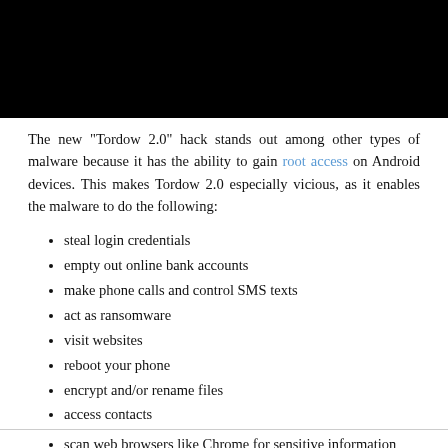[Figure (photo): Black rectangle image at top of page]
The new "Tordow 2.0" hack stands out among other types of malware because it has the ability to gain root access on Android devices. This makes Tordow 2.0 especially vicious, as it enables the malware to do the following:
steal login credentials
empty out online bank accounts
make phone calls and control SMS texts
act as ransomware
visit websites
reboot your phone
encrypt and/or rename files
access contacts
scan web browsers like Chrome for sensitive information
Tordow 2.0, in short, is capable of doing almost anything it wants...